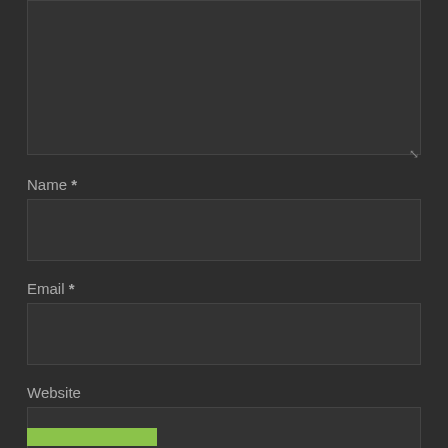[Figure (screenshot): Dark-themed web comment form showing a textarea (top), followed by Name *, Email *, and Website input fields, with a green submit button partially visible at the bottom.]
Name *
Email *
Website